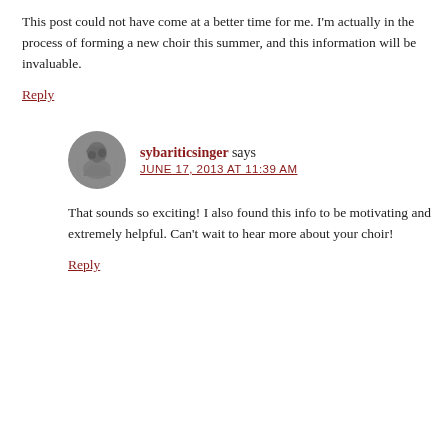This post could not have come at a better time for me. I'm actually in the process of forming a new choir this summer, and this information will be invaluable.
Reply
sybariticsinger says JUNE 17, 2013 AT 11:39 AM
That sounds so exciting! I also found this info to be motivating and extremely helpful. Can't wait to hear more about your choir!
Reply